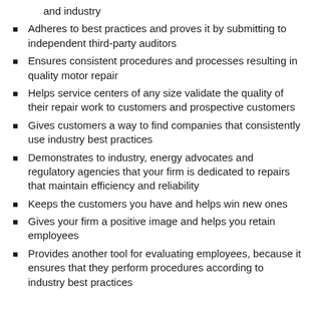and industry
Adheres to best practices and proves it by submitting to independent third-party auditors
Ensures consistent procedures and processes resulting in quality motor repair
Helps service centers of any size validate the quality of their repair work to customers and prospective customers
Gives customers a way to find companies that consistently use industry best practices
Demonstrates to industry, energy advocates and regulatory agencies that your firm is dedicated to repairs that maintain efficiency and reliability
Keeps the customers you have and helps win new ones
Gives your firm a positive image and helps you retain employees
Provides another tool for evaluating employees, because it ensures that they perform procedures according to industry best practices